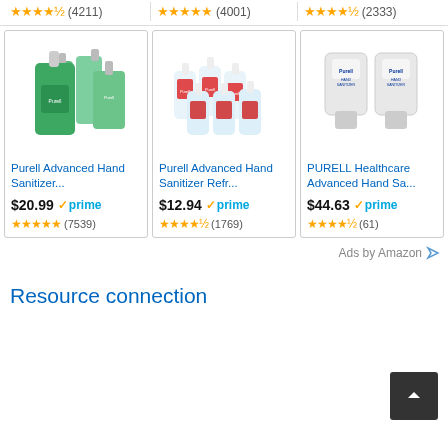[Figure (screenshot): Top bar showing three product rating rows: (4211), (4001), (2333) with star ratings]
[Figure (photo): Purell Advanced Hand Sanitizer green pump bottles]
Purell Advanced Hand Sanitizer...
$20.99 prime (7539)
[Figure (photo): Purell Advanced Hand Sanitizer Refr... small bottles]
Purell Advanced Hand Sanitizer Refr...
$12.94 prime (1769)
[Figure (photo): PURELL Healthcare Advanced Hand Sa... large dispensers]
PURELL Healthcare Advanced Hand Sa...
$44.63 prime (61)
Ads by Amazon
Resource connection